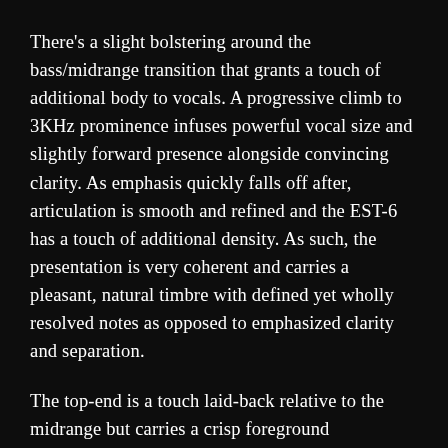There's a slight bolstering around the bass/midrange transition that grants a touch of additional body to vocals. A progressive climb to 3KHz prominence infuses powerful vocal size and slightly forward presence alongside convincing clarity. As emphasis quickly falls off after, articulation is smooth and refined and the EST-6 has a touch of additional density. As such, the presentation is very coherent and carries a pleasant, natural timbre with defined yet wholly resolved notes as opposed to emphasized clarity and separation.
The top-end is a touch laid-back relative to the midrange but carries a crisp foreground presentation on behalf of a small 6KHz push, with great fine detail retrieval. This means the sound is far from blunted or detail sparse. The background meanwhile, is dark and immaculate, while a small bump in the upper treble imbue a touch of…